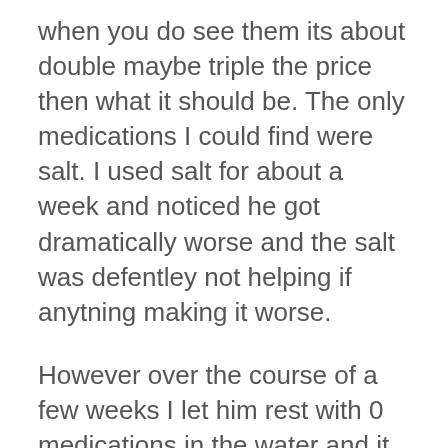when you do see them its about double maybe triple the price then what it should be. The only medications I could find were salt. I used salt for about a week and noticed he got dramatically worse and the salt was defentley not helping if anytning making it worse.
However over the course of a few weeks I let him rest with 0 medications in the water and it seemed to help. So his fins started growing back.
It wasn't until earlier this month I started seeing signs of finrot again. I knew this defentley wasnt a good sign considering the fact that it was a miracle that he survived the last time. But as I did before I let him rest and monitored him.